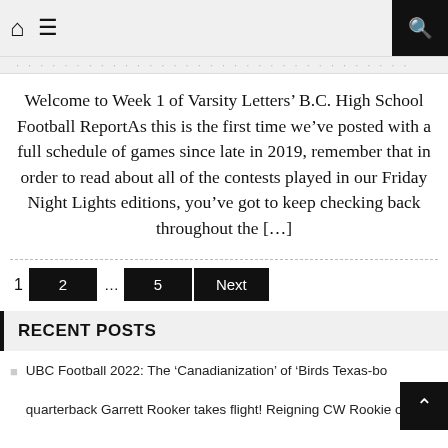Home | Menu | Search
Welcome to Week 1 of Varsity Letters’ B.C. High School Football ReportAs this is the first time we’ve posted with a full schedule of games since late in 2019, remember that in order to read about all of the contests played in our Friday Night Lights editions, you’ve got to keep checking back throughout the […]
1 2 … 5 Next
RECENT POSTS
UBC Football 2022: The ‘Canadianization’ of ‘Birds Texas-born quarterback Garrett Rooker takes flight! Reigning CW Rookie of the